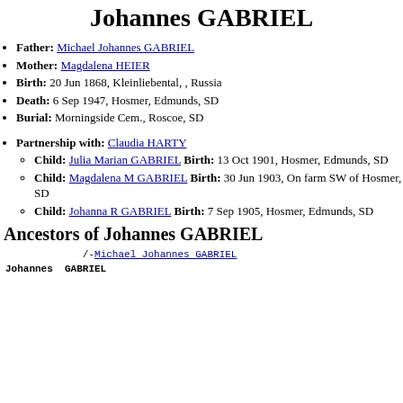Johannes GABRIEL
Father: Michael Johannes GABRIEL
Mother: Magdalena HEIER
Birth: 20 Jun 1868, Kleinliebental, , Russia
Death: 6 Sep 1947, Hosmer, Edmunds, SD
Burial: Morningside Cem., Roscoe, SD
Partnership with: Claudia HARTY
Child: Julia Marian GABRIEL Birth: 13 Oct 1901, Hosmer, Edmunds, SD
Child: Magdalena M GABRIEL Birth: 30 Jun 1903, On farm SW of Hosmer, SD
Child: Johanna R GABRIEL Birth: 7 Sep 1905, Hosmer, Edmunds, SD
Ancestors of Johannes GABRIEL
/-Michael Johannes GABRIEL
Johannes GABRIEL